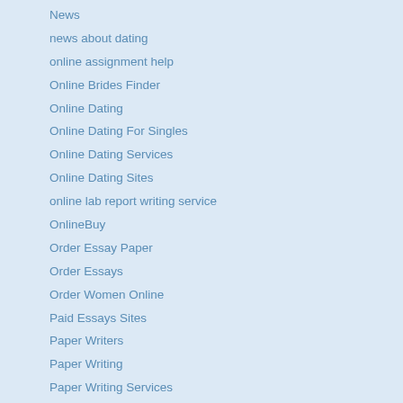News
news about dating
online assignment help
Online Brides Finder
Online Dating
Online Dating For Singles
Online Dating Services
Online Dating Sites
online lab report writing service
OnlineBuy
Order Essay Paper
Order Essays
Order Women Online
Paid Essays Sites
Paper Writers
Paper Writing
Paper Writing Services
paperrater